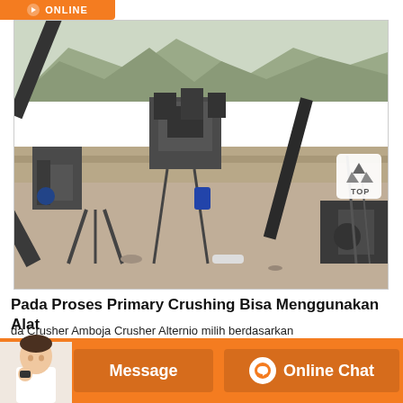online
[Figure (photo): Aerial/elevated view of an industrial stone crushing plant outdoors with conveyor belts, machinery, and mountainous terrain in background]
Pada Proses Primary Crushing Bisa Menggunakan Alat
[Figure (other): Bottom navigation bar with Message button, Online Chat button, and customer service avatar]
da Crusher Amboja Crusher Alternio milih berdasarkan